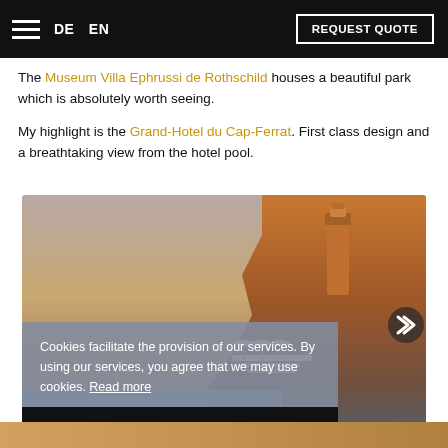DE  EN  REQUEST QUOTE
The Museum Villa Ephrussi de Rothschild houses a beautiful park which is absolutely worth seeing.
My highlight is the Grand-Hotel du Cap-Ferrat. First class design and a breathtaking view from the hotel pool.
[Figure (photo): Coastal hotel scene at sunset showing a lighthouse/tower on a rocky hillside with lounge chairs and a pool reflecting the golden light]
Cookies facilitate the provision of our services. By using our services, you agree that we may use cookies. Read more
Accept